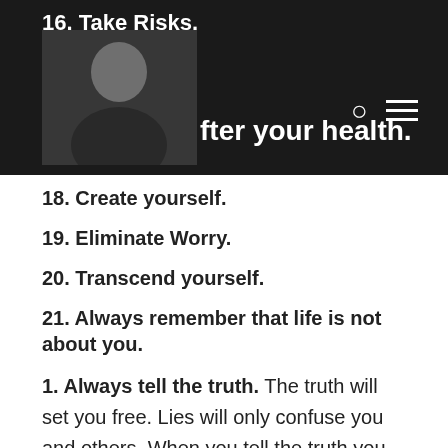16. Take Risks. | [photo] | ...fter your health.
18. Create yourself.
19. Eliminate Worry.
20. Transcend yourself.
21. Always remember that life is not about you.
1. Always tell the truth. The truth will set you free. Lies will only confuse you and others. When you tell the truth you have nothing to hide and by default and people will notice that. People are perceptive and build relationships on trust and open communication. It is